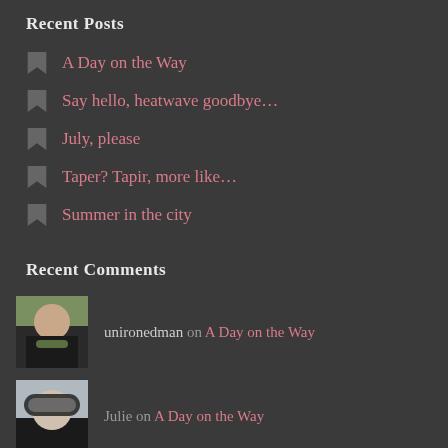Recent Posts
A Day on the Way
Say hello, heatwave goodbye…
July, please
Taper? Tapir, more like…
Summer in the city
Recent Comments
unironedman on A Day on the Way
Julie on A Day on the Way
unironedman on A Day on the Way